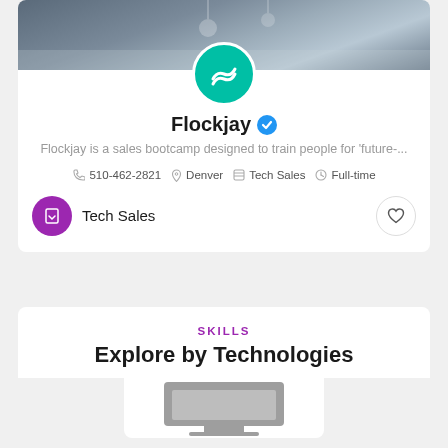[Figure (photo): Cover photo of an interior space with pendant lights, windows, and teal/gray tones]
[Figure (logo): Flockjay teal circular logo with white wave/squiggle icon]
Flockjay ✓
Flockjay is a sales bootcamp designed to train people for 'future-...
510-462-2821  Denver  Tech Sales  Full-time
Tech Sales
SKILLS
Explore by Technologies
[Figure (illustration): Partial view of a monitor/computer screen illustration in gray tones]